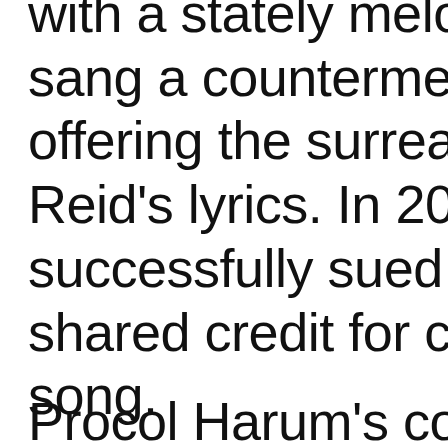with a stately melody, sang a countermelody, offering the surreal Reid's lyrics. In 200 successfully sued to shared credit for co song.
Procol Harum's com